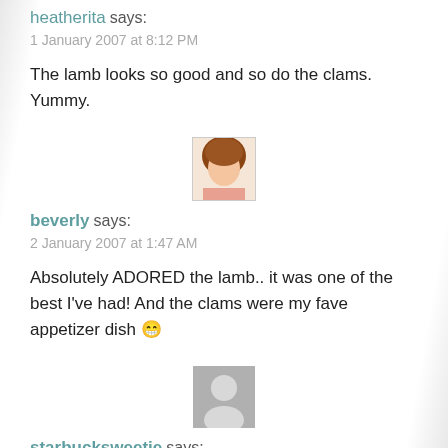heatherita says:
1 January 2007 at 8:12 PM
The lamb looks so good and so do the clams. Yummy.
[Figure (photo): Avatar photo of user beverly]
beverly says:
2 January 2007 at 1:47 AM
Absolutely ADORED the lamb.. it was one of the best I've had! And the clams were my fave appetizer dish 😁
[Figure (photo): Generic avatar placeholder for user starbucksweetie]
starbucksweetie says:
1 January 2007 at 4:05 PM